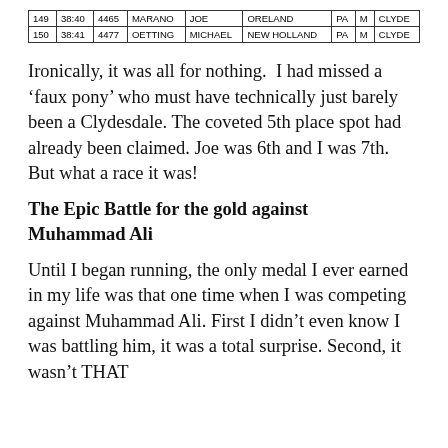|  |  |  |  |  |  |  |  |  |
| --- | --- | --- | --- | --- | --- | --- | --- | --- |
| 149 | 38:40 | 4465 | MARANO | JOE | ORELAND | PA | M | CLYDE |
| 150 | 38:41 | 4477 | OETTING | MICHAEL | NEW HOLLAND | PA | M | CLYDE |
Ironically, it was all for nothing. I had missed a 'faux pony' who must have technically just barely been a Clydesdale. The coveted 5th place spot had already been claimed. Joe was 6th and I was 7th. But what a race it was!
The Epic Battle for the gold against Muhammad Ali
Until I began running, the only medal I ever earned in my life was that one time when I was competing against Muhammad Ali. First I didn't even know I was battling him, it was a total surprise. Second, it wasn't THAT